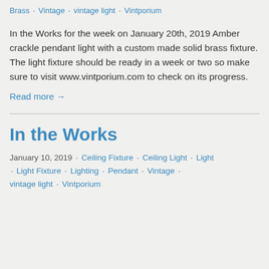Brass · Vintage · vintage light · Vintporium
In the Works for the week on January 20th, 2019 Amber crackle pendant light with a custom made solid brass fixture. The light fixture should be ready in a week or two so make sure to visit www.vintporium.com to check on its progress.
Read more →
In the Works
January 10, 2019 · Ceiling Fixture · Ceiling Light · Light · Light Fixture · Lighting · Pendant · Vintage · vintage light · Vintporium